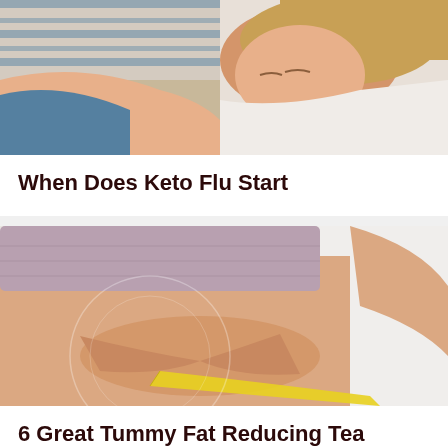[Figure (photo): Woman lying on bed with striped pillow, eyes closed, appearing sick or tired — illustrating keto flu]
When Does Keto Flu Start
[Figure (photo): Woman in sports bra pinching belly fat with tape measure around waist — illustrating tummy fat]
6 Great Tummy Fat Reducing Tea